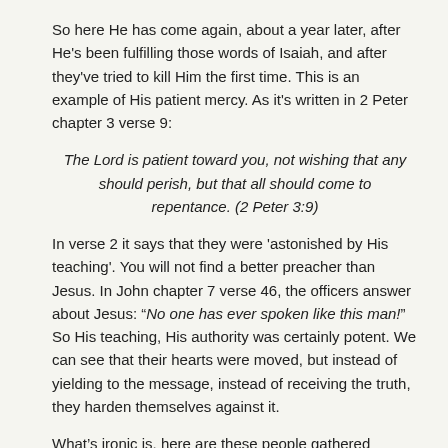So here He has come again, about a year later, after He's been fulfilling those words of Isaiah, and after they've tried to kill Him the first time. This is an example of His patient mercy. As it's written in 2 Peter chapter 3 verse 9:
The Lord is patient toward you, not wishing that any should perish, but that all should come to repentance. (2 Peter 3:9)
In verse 2 it says that they were 'astonished by His teaching'. You will not find a better preacher than Jesus. In John chapter 7 verse 46, the officers answer about Jesus: "No one has ever spoken like this man!" So His teaching, His authority was certainly potent. We can see that their hearts were moved, but instead of yielding to the message, instead of receiving the truth, they harden themselves against it.
What's ironic is, here are these people gathered together in this synagogue, assembled in the name of learning and sharing God's word – and yet, here is the Word made flesh, standing before them, and He's communicating that truth to them. And they are